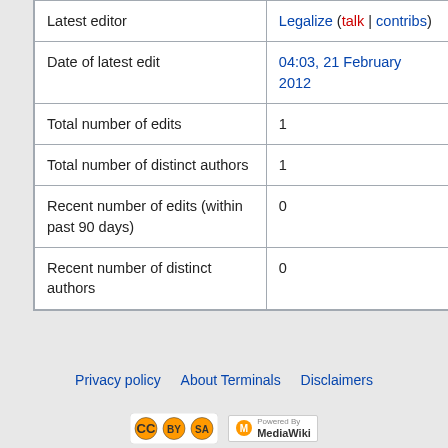|  |  |
| --- | --- |
| Latest editor | Legalize (talk | contribs) |
| Date of latest edit | 04:03, 21 February 2012 |
| Total number of edits | 1 |
| Total number of distinct authors | 1 |
| Recent number of edits (within past 90 days) | 0 |
| Recent number of distinct authors | 0 |
Privacy policy   About Terminals   Disclaimers